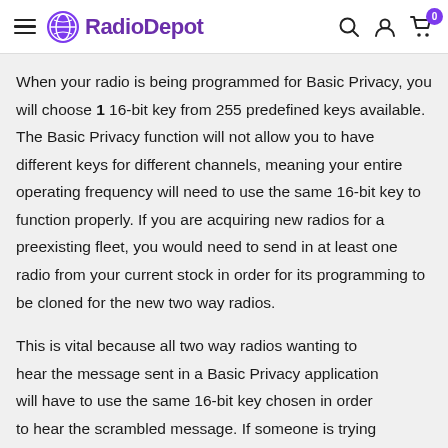RadioDepot
When your radio is being programmed for Basic Privacy, you will choose 1 16-bit key from 255 predefined keys available. The Basic Privacy function will not allow you to have different keys for different channels, meaning your entire operating frequency will need to use the same 16-bit key to function properly. If you are acquiring new radios for a preexisting fleet, you would need to send in at least one radio from your current stock in order for its programming to be cloned for the new two way radios.
This is vital because all two way radios wanting to hear the message sent in a Basic Privacy application will have to use the same 16-bit key chosen in order to hear the scrambled message. If someone is trying to listen in but does not have the right key, they will hear only garbled audio.